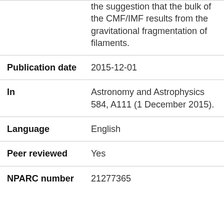| Field | Value |
| --- | --- |
|  | the suggestion that the bulk of the CMF/IMF results from the gravitational fragmentation of filaments. |
| Publication date | 2015-12-01 |
| In | Astronomy and Astrophysics 584, A111 (1 December 2015). |
| Language | English |
| Peer reviewed | Yes |
| NPARC number | 21277365 |